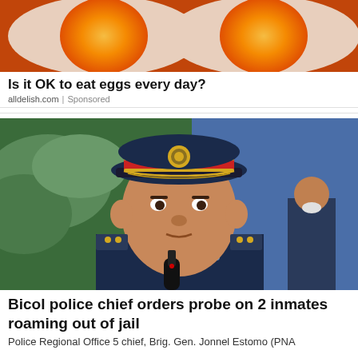[Figure (photo): Advertisement image showing two soft-boiled eggs cut in half, revealing orange yolks, with a reddish-orange sauce or coating]
Is it OK to eat eggs every day?
alldelish.com | Sponsored
[Figure (photo): Photo of a police officer in full uniform with a dark navy cap featuring a gold badge, red band and gold trim, wearing a dark uniform. A microphone is in front of him. Background shows green foliage and a blue wall. Other figures in uniform visible in background.]
Bicol police chief orders probe on 2 inmates roaming out of jail
Police Regional Office 5 chief, Brig. Gen. Jonnel Estomo (PNA